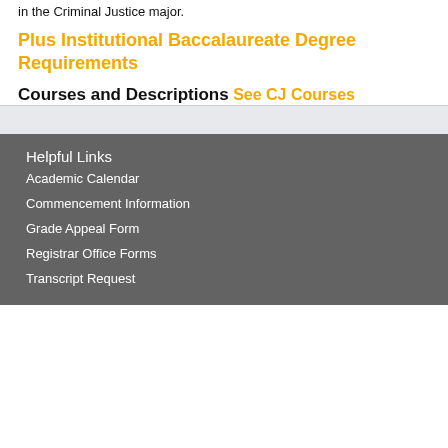in the Criminal Justice major.
Plus Institutional Baccalaureate Degree Requirements
Courses and Descriptions
See CJ Courses
Helpful Links
Academic Calendar
Commencement Information
Grade Appeal Form
Registrar Office Forms
Transcript Request